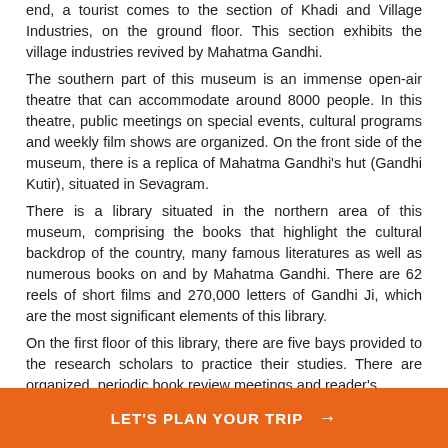end, a tourist comes to the section of Khadi and Village Industries, on the ground floor. This section exhibits the village industries revived by Mahatma Gandhi.
The southern part of this museum is an immense open-air theatre that can accommodate around 8000 people. In this theatre, public meetings on special events, cultural programs and weekly film shows are organized. On the front side of the museum, there is a replica of Mahatma Gandhi's hut (Gandhi Kutir), situated in Sevagram.
There is a library situated in the northern area of this museum, comprising the books that highlight the cultural backdrop of the country, many famous literatures as well as numerous books on and by Mahatma Gandhi. There are 62 reels of short films and 270,000 letters of Gandhi Ji, which are the most significant elements of this library.
On the first floor of this library, there are five bays provided to the research scholars to practice their studies. There are organized, periodic book review meetings and reader's
LET'S PLAN YOUR TRIP →